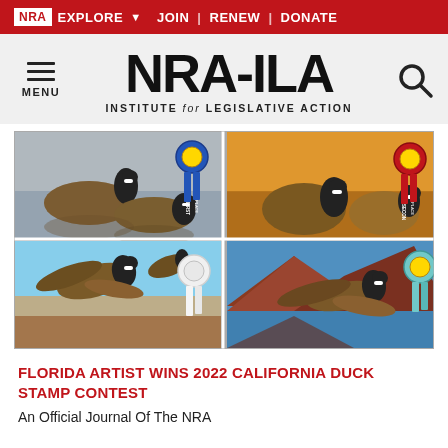NRA EXPLORE ▾  JOIN | RENEW | DONATE
[Figure (logo): NRA-ILA Institute for Legislative Action logo with hamburger menu icon on left and search icon on right]
[Figure (photo): Four paintings of Canada geese displayed in a 2x2 grid, each with a competition ribbon: top-left with blue First Place ribbon, top-right with red Second Place ribbon, bottom-left with white Third Place ribbon, bottom-right with teal/light blue Fourth Place ribbon]
FLORIDA ARTIST WINS 2022 CALIFORNIA DUCK STAMP CONTEST
An Official Journal Of The NRA